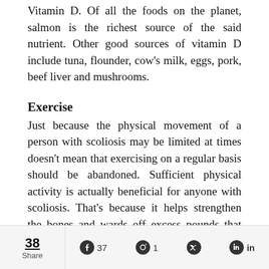Vitamin D. Of all the foods on the planet, salmon is the richest source of the said nutrient. Other good sources of vitamin D include tuna, flounder, cow's milk, eggs, pork, beef liver and mushrooms.
Exercise
Just because the physical movement of a person with scoliosis may be limited at times doesn't mean that exercising on a regular basis should be abandoned. Sufficient physical activity is actually beneficial for anyone with scoliosis. That's because it helps strengthen the bones and wards off excess pounds that can put a lot of strain on the spine.
- Advertisements -
[Figure (illustration): Dark advertisement banner with large white bold text partially visible and decorative arrow chevrons on the right side]
38 Share  |  Facebook 37  |  Pinterest 1  |  Twitter  |  LinkedIn